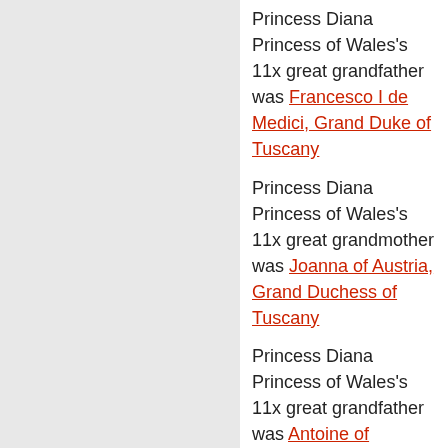Princess Diana Princess of Wales's 11x great grandfather was Francesco I de Medici, Grand Duke of Tuscany
Princess Diana Princess of Wales's 11x great grandmother was Joanna of Austria, Grand Duchess of Tuscany
Princess Diana Princess of Wales's 11x great grandfather was Antoine of Navarre
Princess Diana Princess of Wales's 11x great grandmother was Jeanne d'Albret
Princess Diana Princess of Wales's 11x great grandfather was King Frederick II of Denmark
Princess Diana Princess of Wales's 11x great grandmother was Queen Sophie of Denmark
Princess Diana Princess of Wales's 11x great grandfather was Henry Stuart, Lord Darnley
Princess Diana Princess of Wales's 11x great grandfather was John